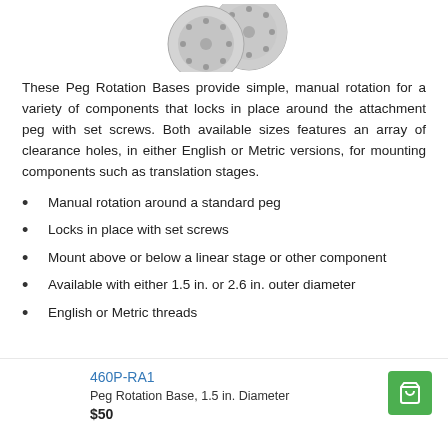[Figure (photo): Two circular peg rotation base components shown from above, gray metal with clearance holes]
These Peg Rotation Bases provide simple, manual rotation for a variety of components that locks in place around the attachment peg with set screws. Both available sizes features an array of clearance holes, in either English or Metric versions, for mounting components such as translation stages.
Manual rotation around a standard peg
Locks in place with set screws
Mount above or below a linear stage or other component
Available with either 1.5 in. or 2.6 in. outer diameter
English or Metric threads
460P-RA1
Peg Rotation Base, 1.5 in. Diameter
$50